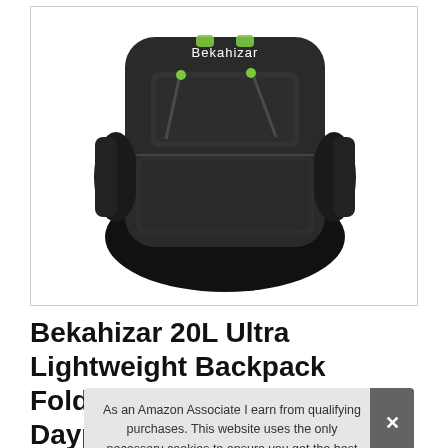[Figure (photo): Bekahizar black backpack viewed from above/front, showing two front zippered pockets with lime green zipper pulls, side mesh pockets, and the Bekahizar logo in white text at the top center. Dark gray/charcoal color with textured fabric.]
Bekahizar 20L Ultra Lightweight Backpack Foldable Hiking Daypack Ru... Ba... Ca... Cycling Climbing Black
As an Amazon Associate I earn from qualifying purchases. This website uses the only necessary cookies to ensure you get the best experience on our website. More information